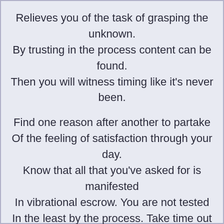Relieves you of the task of grasping the unknown.
By trusting in the process content can be found.
Then you will witness timing like it’s never been.

Find one reason after another to partake
Of the feeling of satisfaction through your day.
Know that all that you’ve asked for is manifested
In vibrational escrow. You are not tested
In the least by the process. Take time out to play.
You’re no master of timing so give it a break.